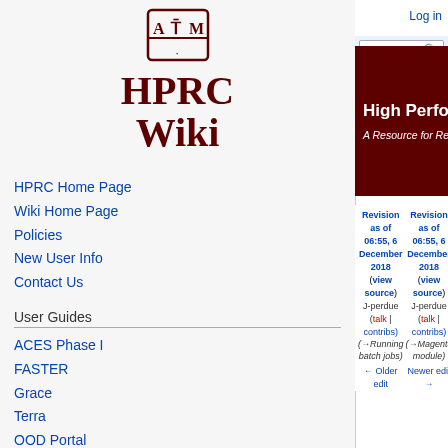[Figure (logo): Texas A&M University ATM logo with HPRC Wiki text]
HPRC Home Page
Wiki Home Page
Policies
New User Info
Contact Us
User Guides
ACES Phase I
FASTER
Grace
Terra
OOD Portal
Galaxy
Log in
High Performance Re... A Resource for Research and...
Revision as of 06:55, 6 December 2018 (view source) J-perdue (talk | contribs) (→Running batch jobs) ← Older edit
Revision as of 06:55, 6 December 2018 (view source) J-perdue (talk | contribs) (→Magenta module) Newer edit →